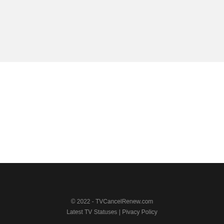© 2022 - TVCancelRenew.com
Latest TV Statuses | Pivacy Policy